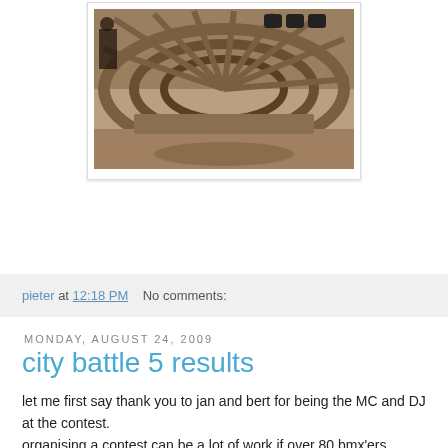[Figure (photo): Indoor photo of what appears to be a skate ramp or curved wooden structure under construction, viewed from above with wide-angle lens, brownish tones]
pieter at 12:18 PM    No comments:
Monday, August 24, 2009
city battle 5 results
let me first say thank you to jan and bert for being the MC and DJ at the contest.
organising a contest can be a lot of work if over 80 bmx'ers